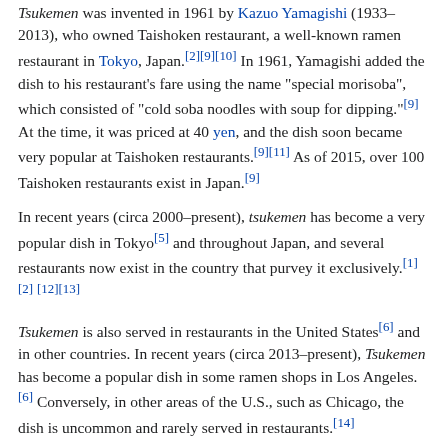Tsukemen was invented in 1961 by Kazuo Yamagishi (1933–2013), who owned Taishoken restaurant, a well-known ramen restaurant in Tokyo, Japan.[2][9][10] In 1961, Yamagishi added the dish to his restaurant's fare using the name "special morisoba", which consisted of "cold soba noodles with soup for dipping."[9] At the time, it was priced at 40 yen, and the dish soon became very popular at Taishoken restaurants.[9][11] As of 2015, over 100 Taishoken restaurants exist in Japan.[9]
In recent years (circa 2000–present), tsukemen has become a very popular dish in Tokyo[5] and throughout Japan, and several restaurants now exist in the country that purvey it exclusively.[1][2][12][13]
Tsukemen is also served in restaurants in the United States[6] and in other countries. In recent years (circa 2013–present), Tsukemen has become a popular dish in some ramen shops in Los Angeles.[6] Conversely, in other areas of the U.S., such as Chicago, the dish is uncommon and rarely served in restaurants.[14]
Gallery
[Figure (photo): A partial view of a tsukemen dish, partially visible at the bottom of the page.]